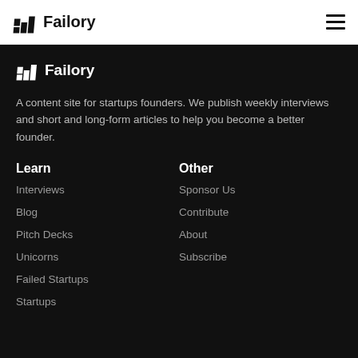Failory
Failory
A content site for startups founders. We publish weekly interviews and short and long-form articles to help you become a better founder.
Learn
Interviews
Blog
Pitch Decks
Unicorns
Failed Startups
Startups
Other
Sponsor Us
Contribute
About
Subscribe